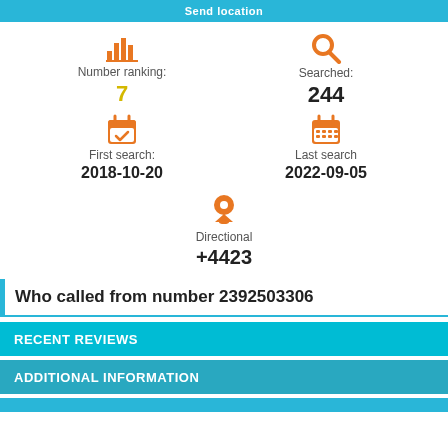Send location
Number ranking: 7
Searched: 244
First search: 2018-10-20
Last search: 2022-09-05
Directional +4423
Who called from number 2392503306
RECENT REVIEWS
ADDITIONAL INFORMATION